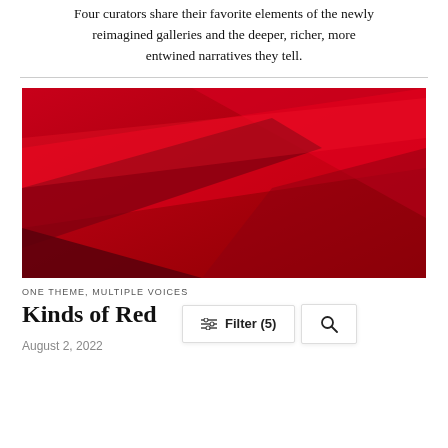Four curators share their favorite elements of the newly reimagined galleries and the deeper, richer, more entwined narratives they tell.
[Figure (illustration): Abstract red geometric composition with diagonal bands of varying shades of red and dark red on a red background]
ONE THEME, MULTIPLE VOICES
Kinds of Red
August 2, 2022